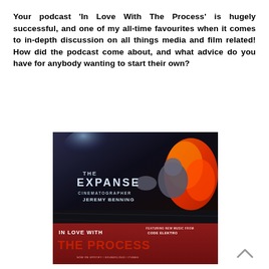Your podcast 'In Love With The Process' is hugely successful, and one of my all-time favourites when it comes to in-depth discussion on all things media and film related! How did the podcast come about, and what advice do you have for anybody wanting to start their own?
[Figure (photo): Podcast episode artwork for 'In Love With The Process' featuring The Expanse cinematographer Jeremy Benning. The image shows a dark sci-fi scene with an astronaut figure against fire/explosion in space. Text overlaid reads: THE EXPANSE, CINEMATOGRAPHER JEREMY BENNING, IN LOVE WITH THE PROCESS, FEATURING NEW MUSIC FROM CODE ELEKTRO, NOW ON SPOTIFY / SOUNDCLOUD / ITUNES.]